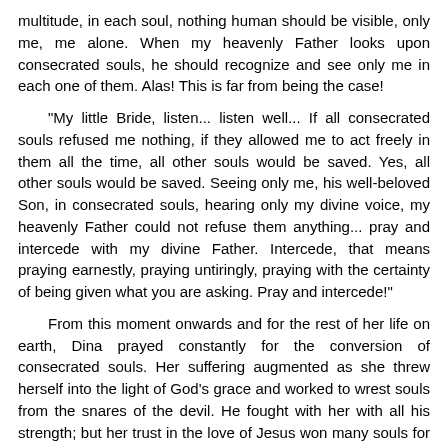multitude, in each soul, nothing human should be visible, only me, me alone. When my heavenly Father looks upon consecrated souls, he should recognize and see only me in each one of them. Alas! This is far from being the case!

"My little Bride, listen... listen well... If all consecrated souls refused me nothing, if they allowed me to act freely in them all the time, all other souls would be saved. Yes, all other souls would be saved. Seeing only me, his well-beloved Son, in consecrated souls, hearing only my divine voice, my heavenly Father could not refuse them anything... pray and intercede with my divine Father. Intercede, that means praying earnestly, praying untiringly, praying with the certainty of being given what you are asking. Pray and intercede!"

From this moment onwards and for the rest of her life on earth, Dina prayed constantly for the conversion of consecrated souls. Her suffering augmented as she threw herself into the light of God's grace and worked to wrest souls from the snares of the devil. He fought with her with all his strength; but her trust in the love of Jesus won many souls for Heaven. Although she often felt totally abandoned by God, in those sa[Go to top]s He was showering graces of pardon and purity upon [Go to top]d saving many souls.